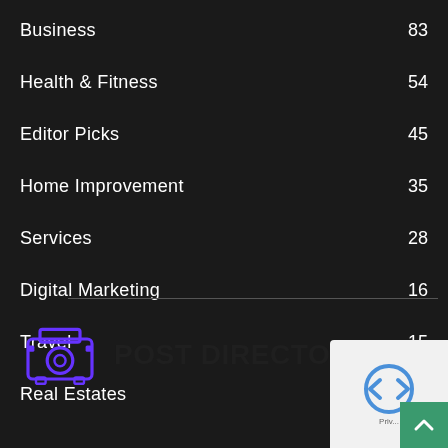Business  83
Health & Fitness  54
Editor Picks  45
Home Improvement  35
Services  28
Digital Marketing  16
Travel  15
Real Estates  12
[Figure (logo): Post Directory logo with a purple camera/projector icon and bold dark text reading POST DIRECTORY]